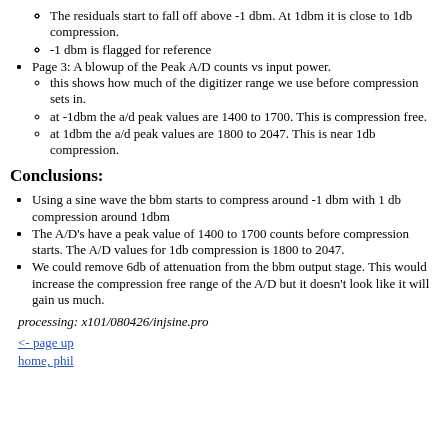The residuals start to fall off above -1 dbm. At 1dbm it is close to 1db compression.
-1 dbm is flagged for reference
Page 3: A blowup of the Peak A/D counts vs input power.
this shows how much of the digitizer range we use before compression sets in.
at -1dbm the a/d peak values are 1400 to 1700. This is compression free.
at 1dbm the a/d peak values are 1800 to 2047. This is near 1db compression.
Conclusions:
Using a sine wave the bbm starts to compress around -1 dbm with 1 db compression around 1dbm
The A/D's have a peak value of 1400 to 1700 counts before compression starts. The A/D values for 1db compression is 1800 to 2047.
We could remove 6db of attenuation from the bbm output stage. This would increase the compression free range of the A/D but it doesn't look like it will gain us much.
processing: x101/080426/injsine.pro
<- page up
home, phil